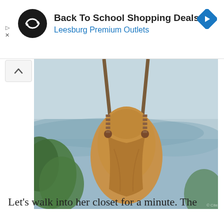[Figure (screenshot): Ad banner: Back To School Shopping Deals at Leesburg Premium Outlets with circular logo and blue arrow icon]
[Figure (photo): Person sitting on a wooden swing wearing a flowy tan/camel colored dress, with a scenic lake and mountains in the background, trees visible on lower left]
Let's walk into her closet for a minute. The